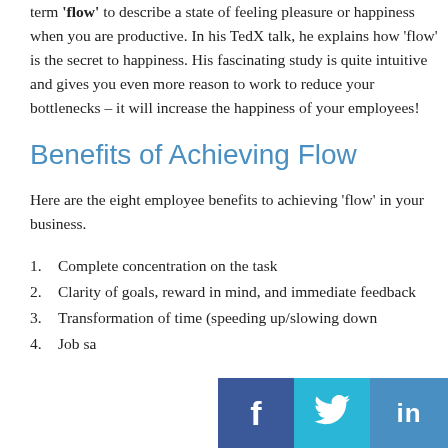term 'flow' to describe a state of feeling pleasure or happiness when you are productive. In his TedX talk, he explains how 'flow' is the secret to happiness. His fascinating study is quite intuitive and gives you even more reason to work to reduce your bottlenecks – it will increase the happiness of your employees!
Benefits of Achieving Flow
Here are the eight employee benefits to achieving 'flow' in your business.
Complete concentration on the task
Clarity of goals, reward in mind, and immediate feedback
Transformation of time (speeding up/slowing down
Job sa
[Figure (other): Social share buttons: Facebook (dark blue), Twitter (light blue), LinkedIn (medium blue)]